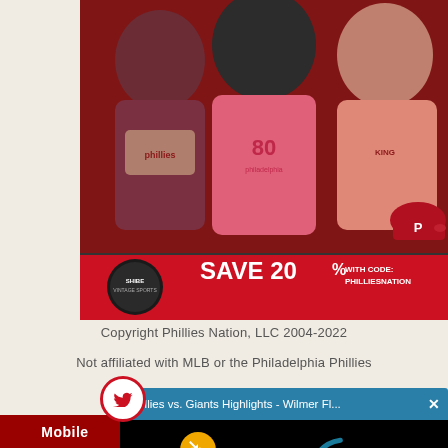[Figure (photo): Three men wearing Philadelphia Phillies-themed t-shirts posing against a red background. Bottom banner shows Shibe Vintage Sports logo with text 'SAVE 20% WITH CODE: PHILLIESNATION' and a red Phillies cap on the right.]
Copyright Phillies Nation, LLC 2004-2022
Not affiliated with MLB or the Philadelphia Phillies
[Figure (screenshot): A floating video player overlay with a Twitter bird icon in a red circle, showing title 'Phillies vs. Giants Highlights - Wilmer Fl...' with an X close button. The video player has a black background with a yellow mute button icon and a teal loading spinner circle.]
Mobile